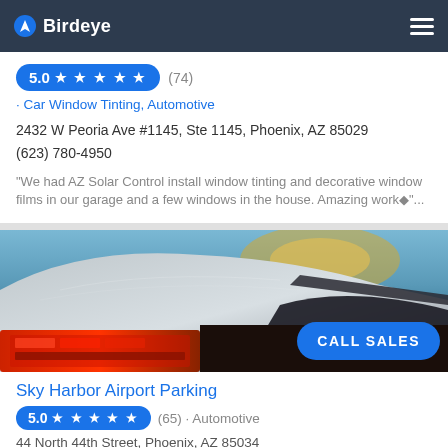Birdeye
5.0 ★ ★ ★ ★ ★ (74)
· Car Window Tinting, Automotive
2432 W Peoria Ave #1145, Ste 1145, Phoenix, AZ 85029
(623) 780-4950
"We had AZ Solar Control install window tinting and decorative window films in our garage and a few windows in the house. Amazing work◆"...
[Figure (photo): Photo of a car rear/trunk area with red tail lights and blue sky reflection, taken at an angle from above]
CALL SALES
Sky Harbor Airport Parking
5.0 ★ ★ ★ ★ ★ (65) · Automotive
44 North 44th Street, Phoenix, AZ 85034